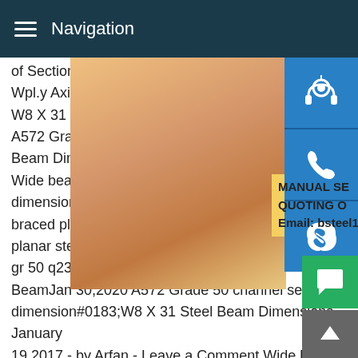Navigation
of Section (cm 2) Mass per Metre (kg/m) A Wpl.y Axis z-z Wel.z Axis y-y Wel.y Axis z- W8 X 31 Steel Beam Dimensions - New I A572 Grade 50 channel section dimension Beam Dimensions January 19,2017 - by A Wide beam specifications chart docx doe dimension standard jis 100 x 200 wind for braced planar steel frame wind forces on planar steel frame wf h beams for constru gr 50 q235W8 X 31 Steel Beam Dimensio BeamJan 30,2020 A572 Grade 50 channel section dimension#0183;W8 X 31 Steel Beam Dimensions January 19,2017 - by Arfan - Leave a Comment Wide beam specifications chart docx doent weight of beam code dimension standard jis 200 wind forces on 162 member braced planar steel frame wi forces on 162 member braced planar steel frame wf h beams f
[Figure (photo): Woman with headset customer service photo on right side with blue icon buttons for contact (headset, phone, Skype), and a yellow promotional box with text MANUAL SE... QUOTING O... Email: bsteel1@163.com]
[Figure (other): Green chat button and grey scroll-to-top button at bottom right]